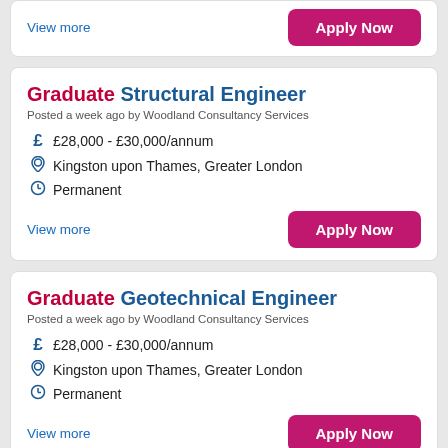View more
Apply Now
Graduate Structural Engineer
Posted a week ago by Woodland Consultancy Services
£28,000 - £30,000/annum
Kingston upon Thames, Greater London
Permanent
View more
Apply Now
Graduate Geotechnical Engineer
Posted a week ago by Woodland Consultancy Services
£28,000 - £30,000/annum
Kingston upon Thames, Greater London
Permanent
View more
Apply Now